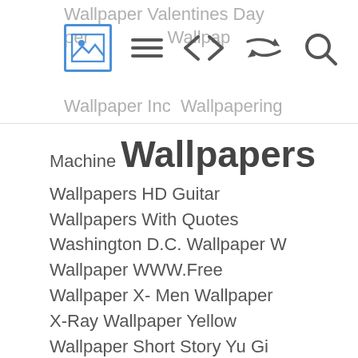Wallpaper Valentines Day Wallpaper Inc Wallpapering [icons] Machine Wallpapers
Machine Wallpapers Wallpapers HD Guitar Wallpapers With Quotes Washington D.C. Wallpaper W Wallpaper WWW.Free Wallpaper X- Men Wallpaper X-Ray Wallpaper Yellow Wallpaper Short Story Yu Gi Oh Wallpaper